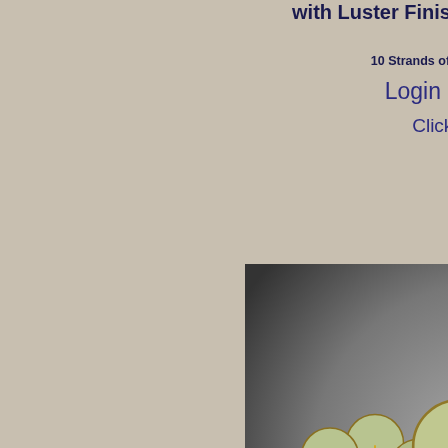with Luster Finish and Copper Wash
10 Strands of 12 Beads per Unit
Login | Register
Click to view
[Figure (photo): Two flower-shaped beads (Wild Rose 14mm) in sage green opaque with gold wash finish, photographed on a dark reflective surface]
Wild Rose (14mm) Sage Green Opaque with Gold Wash
10 Strands of 12 Beads per Unit
Login | Register
Click to view
Tr